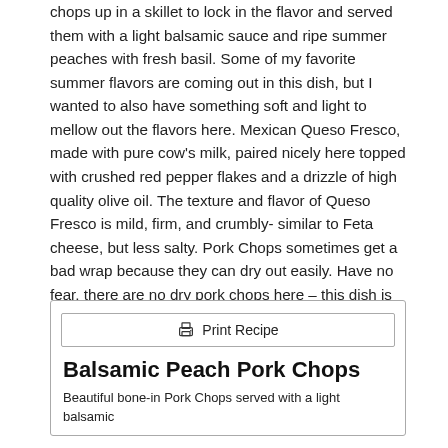chops up in a skillet to lock in the flavor and served them with a light balsamic sauce and ripe summer peaches with fresh basil. Some of my favorite summer flavors are coming out in this dish, but I wanted to also have something soft and light to mellow out the flavors here. Mexican Queso Fresco, made with pure cow's milk, paired nicely here topped with crushed red pepper flakes and a drizzle of high quality olive oil. The texture and flavor of Queso Fresco is mild, firm, and crumbly- similar to Feta cheese, but less salty. Pork Chops sometimes get a bad wrap because they can dry out easily. Have no fear, there are no dry pork chops here – this dish is packed with juicy flavor and has a nice balance of sweetness from the balsamic glaze and peaches!
[Figure (other): Print Recipe button with printer icon]
Balsamic Peach Pork Chops
Beautiful bone-in Pork Chops served with a light balsamic